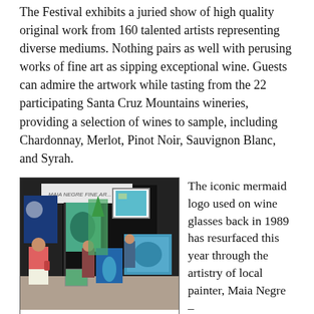The Festival exhibits a juried show of high quality original work from 160 talented artists representing diverse mediums. Nothing pairs as well with perusing works of fine art as sipping exceptional wine. Guests can admire the artwork while tasting from the 22 participating Santa Cruz Mountains wineries, providing a selection of wines to sample, including Chardonnay, Merlot, Pinot Noir, Sauvignon Blanc, and Syrah.
[Figure (photo): Artist Maia Negre's booth at the 2015 festival showing colorful paintings and visitors browsing artwork.]
Artist Maia Negre's booth, 2015
The iconic mermaid logo used on wine glasses back in 1989 has resurfaced this year through the artistry of local painter, Maia Negre –
Maia's classic aquatic image was chosen as the 2017 Festival glass design. Wine tasting requires a purchase of 2017 Festival